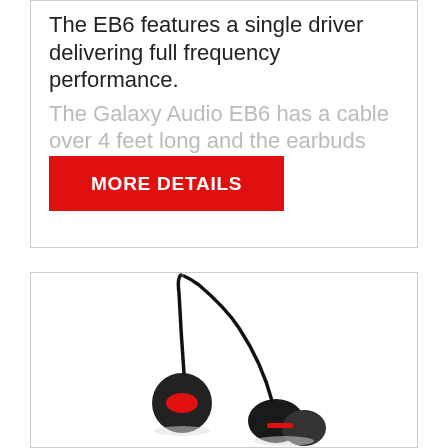The EB6 features a single driver delivering full frequency performance. The Galaxy Audio EB6 has a cable over 4 feet long and the earbuds weigh 6g
[Figure (other): Red 'MORE DETAILS' button]
[Figure (photo): Product photo of Galaxy Audio EB6 earbuds — black and red in-ear earphones with cables]